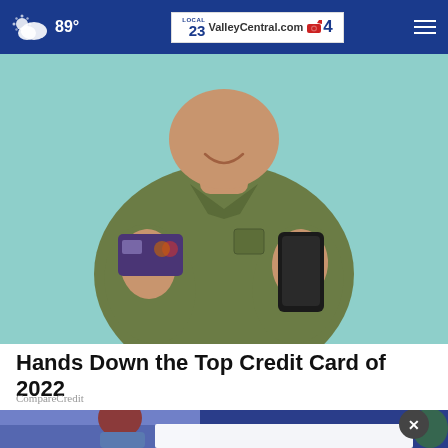89° ValleyCentral.com 23 Local 4
[Figure (photo): Man in olive green shirt holding a dark purple credit card in one hand and a black smartphone in the other, smiling, against a light teal background]
Hands Down the Top Credit Card of 2022
CompareCredit
[Figure (illustration): Illustrated scene showing a person at a desk with computer, partially visible, with a white modal/ad overlay and close button (X) in dark circle]